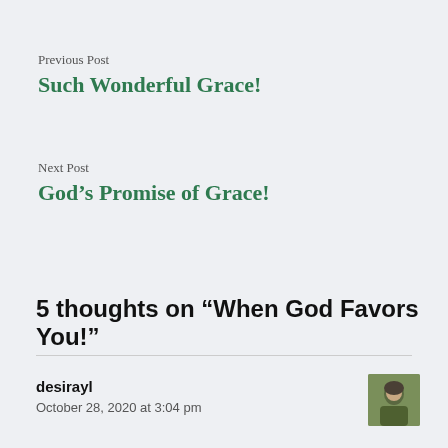Previous Post
Such Wonderful Grace!
Next Post
God’s Promise of Grace!
5 thoughts on “When God Favors You!”
desirayl
October 28, 2020 at 3:04 pm
[Figure (photo): Small avatar photo of commenter desirayl, showing a person in green/olive tones]